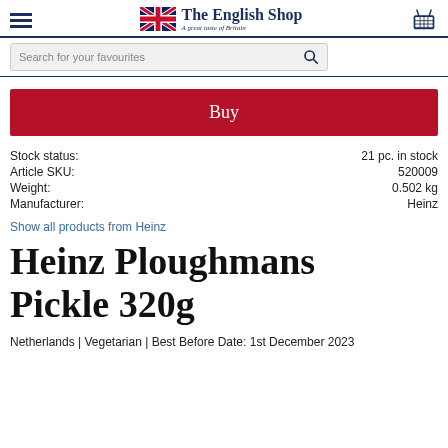The English Shop — A great taste of Britain
Search for your favourites
Buy
| Field | Value |
| --- | --- |
| Stock status: | 21 pc. in stock |
| Article SKU: | 520009 |
| Weight: | 0.502 kg |
| Manufacturer: | Heinz |
Show all products from Heinz
Heinz Ploughmans Pickle 320g
Netherlands | Vegetarian | Best Before Date: 1st December 2023